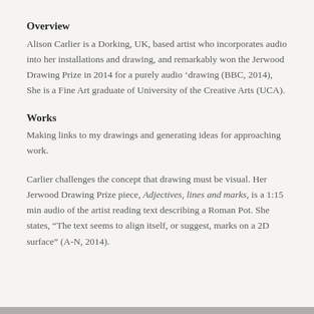Overview
Alison Carlier is a Dorking, UK, based artist who incorporates audio into her installations and drawing, and remarkably won the Jerwood Drawing Prize in 2014 for a purely audio ‘drawing (BBC, 2014), She is a Fine Art graduate of University of the Creative Arts (UCA).
Works
Making links to my drawings and generating ideas for approaching work.
Carlier challenges the concept that drawing must be visual. Her Jerwood Drawing Prize piece, Adjectives, lines and marks, is a 1:15 min audio of the artist reading text describing a Roman Pot. She states, “The text seems to align itself, or suggest, marks on a 2D surface” (A-N, 2014).